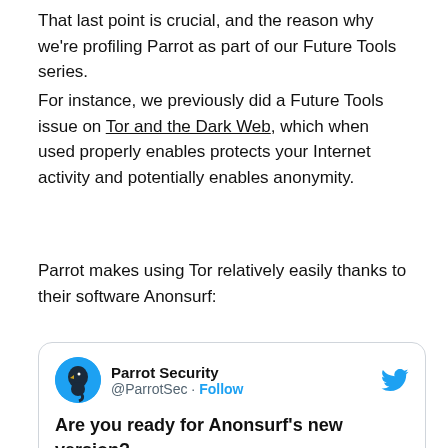That last point is crucial, and the reason why we're profiling Parrot as part of our Future Tools series.
For instance, we previously did a Future Tools issue on Tor and the Dark Web, which when used properly enables protects your Internet activity and potentially enables anonymity.
Parrot makes using Tor relatively easily thanks to their software Anonsurf:
[Figure (screenshot): Embedded tweet card from Parrot Security (@ParrotSec) with a Follow button and Twitter bird logo. Tweet text reads: Are you ready for Anonsurf's new version?]